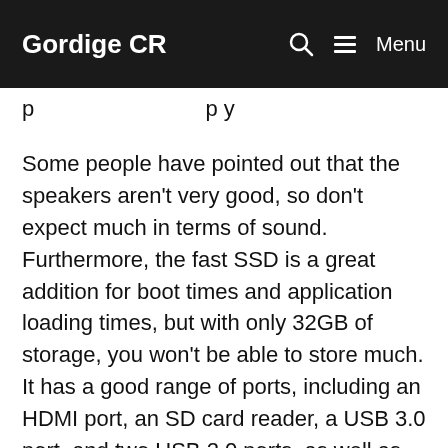Gordige CR   🔍   ☰ Menu
p…p y
Some people have pointed out that the speakers aren't very good, so don't expect much in terms of sound. Furthermore, the fast SSD is a great addition for boot times and application loading times, but with only 32GB of storage, you won't be able to store much. It has a good range of ports, including an HDMI port, an SD card reader, a USB 3.0 port, and two USB 2.0 ports, as well as the standard headphone and power jacks. It's light, weighing only 3.64 pounds, and comes with a chiclet-style keyboard and an average-at-best trackpad, according to one user. It has an Intel Celeron N3450 processor and 4GB of RAM, and it feels more responsive than other